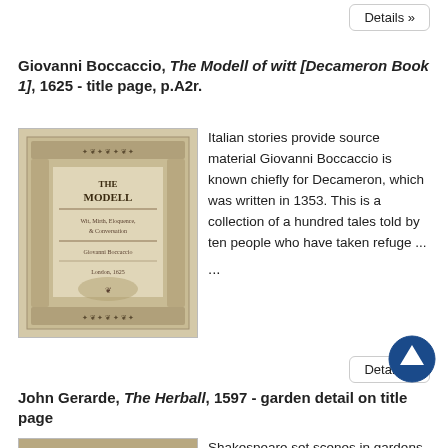Details »
Giovanni Boccaccio, The Modell of witt [Decameron Book 1], 1625 - title page, p.A2r.
[Figure (photo): Title page of The Modell of witt (Decameron Book 1) by Giovanni Boccaccio, 1625, showing ornate decorative border with the word MODELL visible in the center]
Italian stories provide source material Giovanni Boccaccio is known chiefly for Decameron, which was written in 1353. This is a collection of a hundred tales told by ten people who have taken refuge ...
Details »
[Figure (illustration): Up arrow circle navigation button]
John Gerarde, The Herball, 1597 - garden detail on title page
[Figure (photo): Garden detail from the title page of The Herball by John Gerarde, 1597, showing ornate decorative illustration]
Shakespeare set scenes in gardens such as this Many scenes in Shakespeare's plays are set in